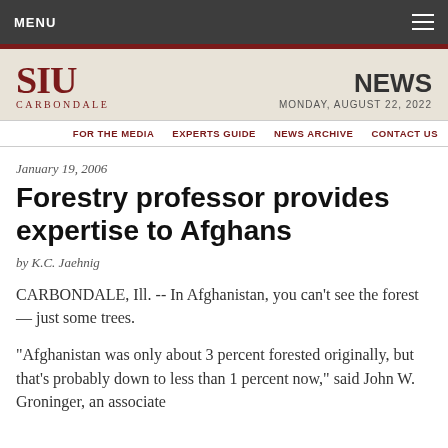MENU
[Figure (logo): SIU Carbondale logo in dark red]
NEWS MONDAY, AUGUST 22, 2022
FOR THE MEDIA | EXPERTS GUIDE | NEWS ARCHIVE | CONTACT US
January 19, 2006
Forestry professor provides expertise to Afghans
by K.C. Jaehnig
CARBONDALE, Ill. -- In Afghanistan, you can't see the forest — just some trees.
"Afghanistan was only about 3 percent forested originally, but that's probably down to less than 1 percent now," said John W. Groninger, an associate